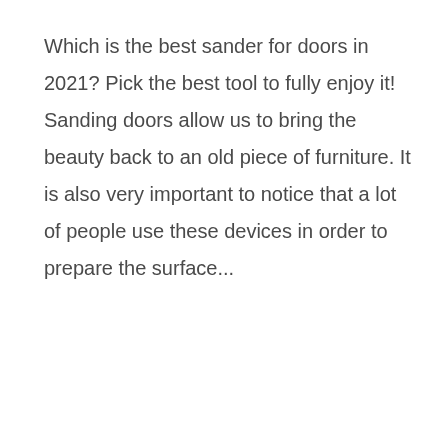Which is the best sander for doors in 2021? Pick the best tool to fully enjoy it! Sanding doors allow us to bring the beauty back to an old piece of furniture. It is also very important to notice that a lot of people use these devices in order to prepare the surface...